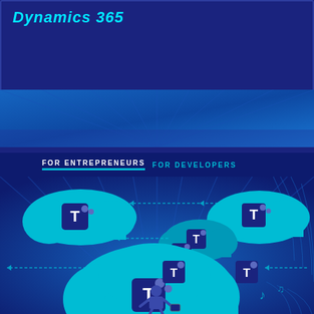Dynamics 365
[Figure (illustration): Dark blue banner with radial light rays background graphic]
FOR ENTREPRENEURS  FOR DEVELOPERS
[Figure (infographic): Microsoft Teams cloud infographic on dark blue background with multiple cloud icons containing Microsoft Teams logos, connected by dashed arrows pointing left, with a person figure at the bottom holding a briefcase surrounded by musical notes]